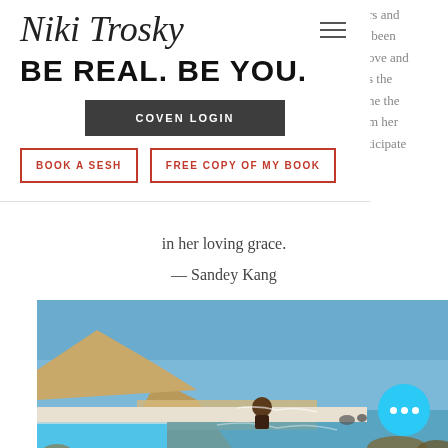Niki Trosky
BE REAL. BE YOU.
COVEN LOGIN
BOOK A SESH
FREE COPY OF MY BOOK
rs and been ove and s the ne the m her ticipate
in her loving grace.
— Sandey Kang
[Figure (photo): Person sitting in meditation pose on the edge of an infinity pool overlooking a beach and ocean with mountains in the background, sunny day with blue sky.]